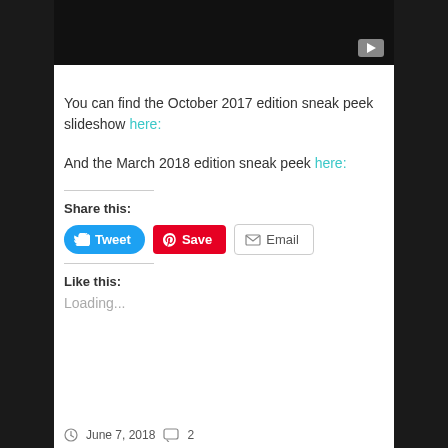[Figure (screenshot): Black video player area with YouTube play button in bottom right corner]
You can find the October 2017 edition sneak peek slideshow here:
And the March 2018 edition sneak peek here:
Share this:
[Figure (other): Share buttons: Tweet (blue), Save (red Pinterest), Email (grey outline)]
Like this:
Loading...
June 7, 2018   2